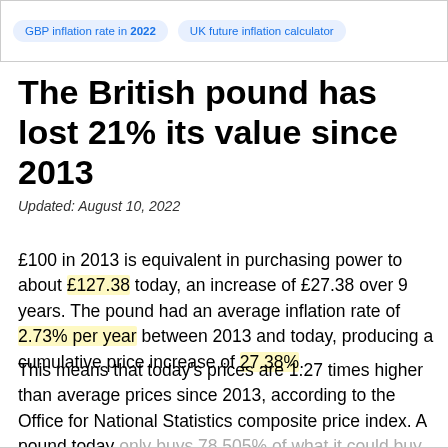GBP inflation rate in 2022 | UK future inflation calculator
The British pound has lost 21% its value since 2013
Updated: August 10, 2022
£100 in 2013 is equivalent in purchasing power to about £127.38 today, an increase of £27.38 over 9 years. The pound had an average inflation rate of 2.73% per year between 2013 and today, producing a cumulative price increase of 27.38%.
This means that today's prices are 1.27 times higher than average prices since 2013, according to the Office for National Statistics composite price index. A pound today only buys 78.505% of what it could buy back then.